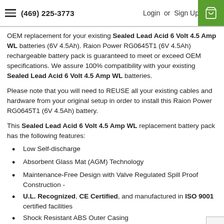(469) 225-3773  Login or Sign Up
OEM replacement for your existing Sealed Lead Acid 6 Volt 4.5 Amp WL batteries (6V 4.5Ah). Raion Power RG0645T1 (6V 4.5Ah) rechargeable battery pack is guaranteed to meet or exceed OEM specifications. We assure 100% compatibility with your existing Sealed Lead Acid 6 Volt 4.5 Amp WL batteries.
Please note that you will need to REUSE all your existing cables and hardware from your original setup in order to install this Raion Power RG0645T1 (6V 4.5Ah) battery.
This Sealed Lead Acid 6 Volt 4.5 Amp WL replacement battery pack has the following features:
Low Self-discharge
Absorbent Glass Mat (AGM) Technology
Maintenance-Free Design with Valve Regulated Spill Proof Construction -
U.L. Recognized, CE Certified, and manufactured in ISO 9001 certified facilities
Shock Resistant ABS Outer Casing